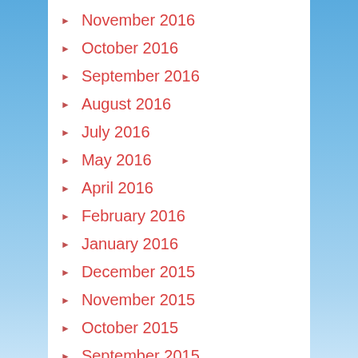November 2016
October 2016
September 2016
August 2016
July 2016
May 2016
April 2016
February 2016
January 2016
December 2015
November 2015
October 2015
September 2015
August 2015
July 2015